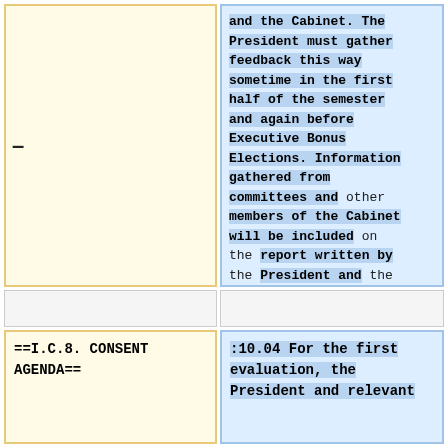and the Cabinet. The President must gather feedback this way sometime in the first half of the semester and again before Executive Bonus Elections. Information gathered from committees and other members of the Cabinet will be included on the report written by the President and the relevant Senior Manager(s).
==I.C.8. CONSENT AGENDA==
:10.04 For the first evaluation, the President and relevant